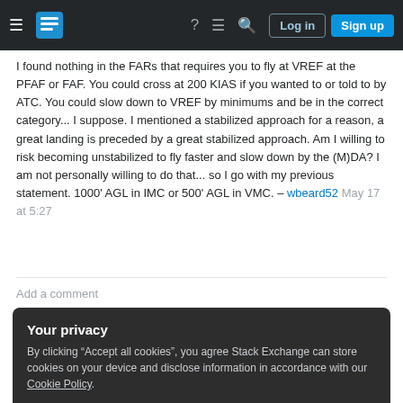Stack Exchange navigation bar with Log in and Sign up buttons
I found nothing in the FARs that requires you to fly at VREF at the PFAF or FAF. You could cross at 200 KIAS if you wanted to or told to by ATC. You could slow down to VREF by minimums and be in the correct category... I suppose. I mentioned a stabilized approach for a reason, a great landing is preceded by a great stabilized approach. Am I willing to risk becoming unstabilized to fly faster and slow down by the (M)DA? I am not personally willing to do that... so I go with my previous statement. 1000' AGL in IMC or 500' AGL in VMC. – wbeard52 May 17 at 5:27
Add a comment
Your privacy
By clicking "Accept all cookies", you agree Stack Exchange can store cookies on your device and disclose information in accordance with our Cookie Policy.
Accept all cookies  Customize settings
for the classification of aeroplanes by